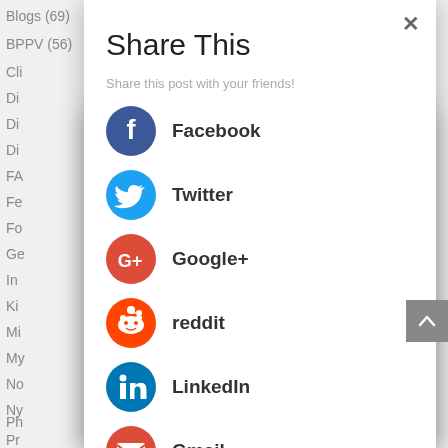Blogs (69)
BPPV (56)
Cli...
Di...
Di...
Di...
FA...
Fe...
Fo...
Ge...
In...
Ki...
Mi...
My...
No...
Ny...
Ph...
Pr...
Share This
Share this post with your friends!
Facebook
Twitter
Google+
reddit
LinkedIn
Gmail